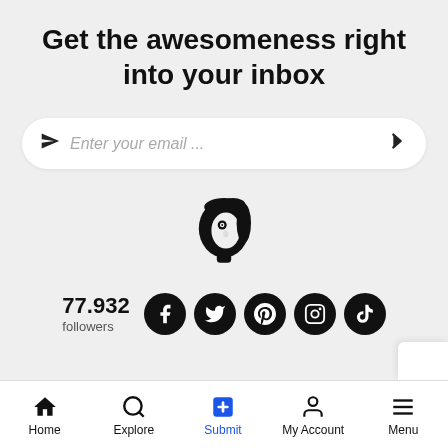Get the awesomeness right into your inbox
[Figure (infographic): Email subscription input field with send icon on left and arrow on right, pill-shaped white box with placeholder text 'Enter your email ...']
[Figure (logo): Black silhouette logo of a woman's head profile with swirl design]
77.932 followers
[Figure (infographic): Row of 5 black circular social media icons: Facebook, Twitter, Pinterest, Instagram, TikTok]
Home  Explore  Submit  My Account  Menu